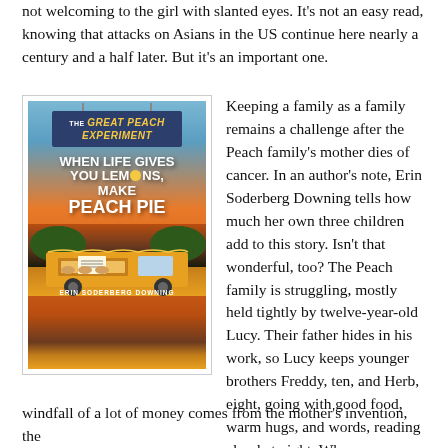not welcoming to the girl with slanted eyes. It's not an easy read, knowing that attacks on Asians in the US continue here nearly a century and a half later. But it's an important one.
[Figure (photo): Book cover of 'The Great Peach Experiment: When Life Gives You Lemons, Make Peach Pie' by Erin Soderberg Downing. Orange background with a food truck illustration, bold white and yellow text.]
Keeping a family as a family remains a challenge after the Peach family's mother dies of cancer. In an author's note, Erin Soderberg Downing tells how much her own three children add to this story. Isn't that wonderful, too? The Peach family is struggling, mostly held tightly by twelve-year-old Lucy. Their father hides in his work, so Lucy keeps younger brothers Freddy, ten, and Herb, eight, going with good food, warm hugs, and words, reading aloud at night. When a windfall of a lot of money comes from the mother's invention, the